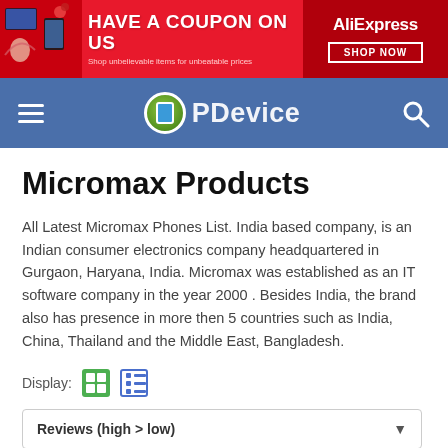[Figure (screenshot): AliExpress advertisement banner: red background with text 'HAVE A COUPON ON US', 'Shop unbelievable items for unbeatable prices', AliExpress logo and SHOP NOW button]
[Figure (logo): PDevice website navigation bar with hamburger menu, PDevice logo (green circle with blue phone icon), and search icon on blue background]
Micromax Products
All Latest Micromax Phones List. India based company, is an Indian consumer electronics company headquartered in Gurgaon, Haryana, India. Micromax was established as an IT software company in the year 2000 . Besides India, the brand also has presence in more then 5 countries such as India, China, Thailand and the Middle East, Bangladesh.
Display: [grid icon] [list icon]
Reviews (high > low)
Micromax